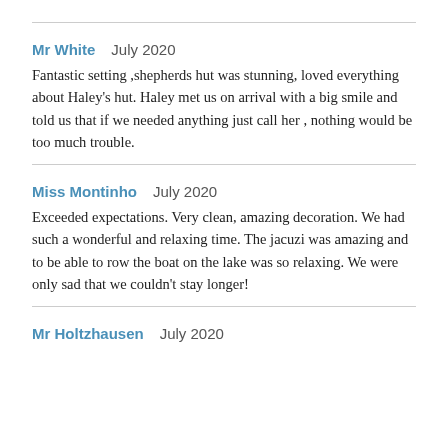Mr White   July 2020
Fantastic setting ,shepherds hut was stunning, loved everything about Haley's hut. Haley met us on arrival with a big smile and told us that if we needed anything just call her , nothing would be too much trouble.
Miss Montinho   July 2020
Exceeded expectations. Very clean, amazing decoration. We had such a wonderful and relaxing time. The jacuzi was amazing and to be able to row the boat on the lake was so relaxing. We were only sad that we couldn't stay longer!
Mr Holtzhausen   July 2020